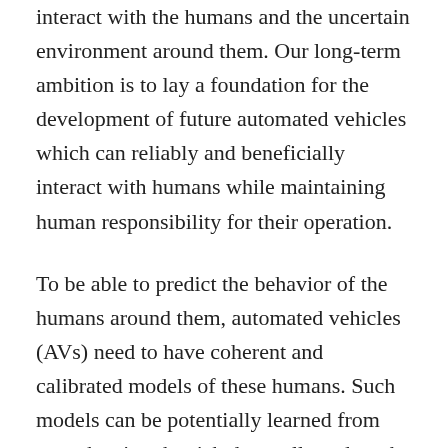interact with the humans and the uncertain environment around them. Our long-term ambition is to lay a foundation for the development of future automated vehicles which can reliably and beneficially interact with humans while maintaining human responsibility for their operation.
To be able to predict the behavior of the humans around them, automated vehicles (AVs) need to have coherent and calibrated models of these humans. Such models can be potentially learned from scratch using the rich data collected on the roads. However, as much as machine-learned models of human behavior are powerful, they are prone to a number of well-known issues (susceptibility